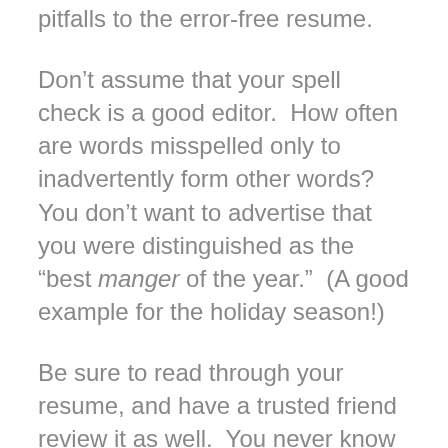pitfalls to the error-free resume.
Don’t assume that your spell check is a good editor.  How often are words misspelled only to inadvertently form other words? You don’t want to advertise that you were distinguished as the “best manger of the year.”  (A good example for the holiday season!)
Be sure to read through your resume, and have a trusted friend review it as well.  You never know when “public” may become indecent, or you’ve used “suing” instead of